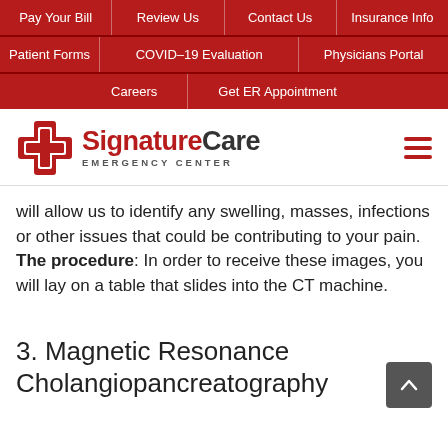Pay Your Bill | Review Us | Contact Us | Insurance Info
Patient Forms | COVID-19 Evaluation | Physicians Portal
Careers | Get ER Appointment
[Figure (logo): SignatureCare Emergency Center logo with red cross graphic and text]
will allow us to identify any swelling, masses, infections or other issues that could be contributing to your pain. The procedure: In order to receive these images, you will lay on a table that slides into the CT machine.
3. Magnetic Resonance Cholangiopancreatography